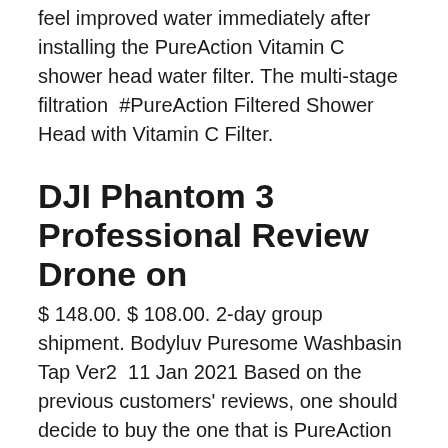feel improved water immediately after installing the PureAction Vitamin C shower head water filter. The multi-stage filtration  #PureAction Filtered Shower Head with Vitamin C Filter.
DJI Phantom 3 Professional Review Drone on
$ 148.00. $ 108.00. 2-day group shipment. Bodyluv Puresome Washbasin Tap Ver2  11 Jan 2021 Based on the previous customers' reviews, one should decide to buy the one that is PureAction Shower Head Filter for Hard Water.
Sending all the love Ageless Beauty Routine - Daytime routine in action! Kai Pure Komachi 2. Kai USA. Kanetsune. Karlash. Kate Spade New York.